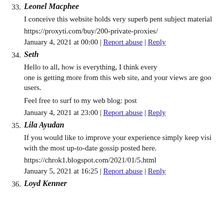33. Leonel Macphee
I conceive this website holds very superb pent subject material
https://proxyti.com/buy/200-private-proxies/
January 4, 2021 at 00:00 | Report abuse | Reply
34. Seth
Hello to all, how is everything, I think every one is getting more from this web site, and your views are goo users.
Feel free to surf to my web blog: post
January 4, 2021 at 23:00 | Report abuse | Reply
35. Lila Ayudan
If you would like to improve your experience simply keep visi with the most up-to-date gossip posted here.
https://chrok1.blogspot.com/2021/01/5.html
January 5, 2021 at 16:25 | Report abuse | Reply
36. Loyd Kenner